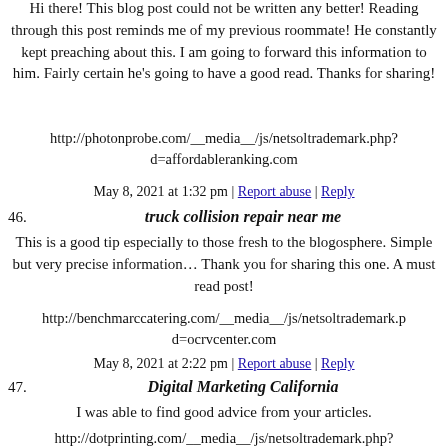Hi there! This blog post could not be written any better! Reading through this post reminds me of my previous roommate! He constantly kept preaching about this. I am going to forward this information to him. Fairly certain he's going to have a good read. Thanks for sharing!
http://photonprobe.com/__media__/js/netsoltrademark.php?d=affordableranking.com
May 8, 2021 at 1:32 pm | Report abuse | Reply
46. truck collision repair near me
This is a good tip especially to those fresh to the blogosphere. Simple but very precise information… Thank you for sharing this one. A must read post!
http://benchmarccatering.com/__media__/js/netsoltrademark.php?d=ocrvcenter.com
May 8, 2021 at 2:22 pm | Report abuse | Reply
47. Digital Marketing California
I was able to find good advice from your articles.
http://dotprinting.com/__media__/js/netsoltrademark.php?d=affordableranking.com